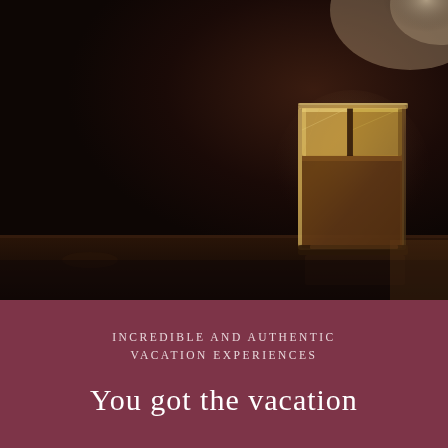[Figure (photo): Dark moody photo of a whiskey glass with ice on a dark reflective surface, against a near-black background. The glass is positioned to the right of center, with light catching the ice and glass edges.]
INCREDIBLE AND AUTHENTIC VACATION EXPERIENCES
You got the vacation